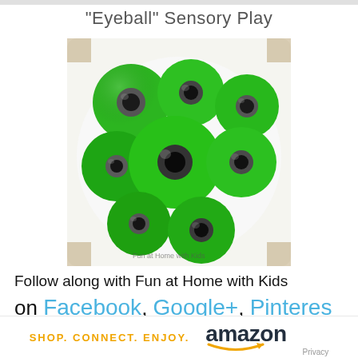"Eyeball" Sensory Play
[Figure (photo): Green translucent gel eyeballs with dark pupils arranged in a white bowl, viewed from above. The balls are glossy and bright green with circular dark gray/black centers resembling eyes.]
Follow along with Fun at Home with Kids on Facebook, Google+, Pinteres
[Figure (logo): Amazon logo with orange smile/arrow underneath, accompanied by orange text 'SHOP. CONNECT. ENJOY.' and gray 'Privacy' text]